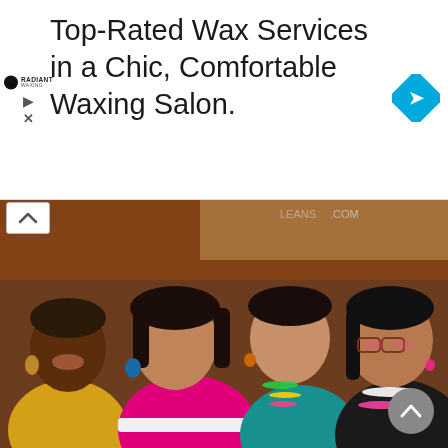[Figure (other): Advertisement banner with Radiant Waxing logo, play and close icons on left, text 'Top-Rated Wax Services in a Chic, Comfortable Waxing Salon.' in center, blue diamond navigation arrow icon on right]
Top-Rated Wax Services in a Chic, Comfortable Waxing Salon.
[Figure (photo): Group photo of four women smiling together in a colorful indoor setting. From left: woman in yellow top with hoop earrings, woman in pink/magenta shirt with white belt and blue earrings, woman in teal/blue top with colorful beaded necklace, woman in black top with pearl necklace and pink beaded necklace wearing glasses. Background shows merchandise/store setting with text partially visible reading '.COM'. A grey circular scroll-up button appears in the bottom right corner.]